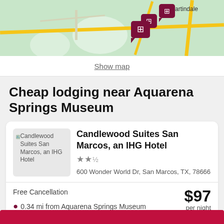[Figure (map): Partial map view showing hotel locations near Aquarena Springs Museum area with map pins and road markings, with 'Martindale' label visible]
Show map
Cheap lodging near Aquarena Springs Museum
[Figure (photo): Placeholder image for Candlewood Suites San Marcos, an IHG Hotel]
Candlewood Suites San Marcos, an IHG Hotel
★★½
600 Wonder World Dr, San Marcos, TX, 78666
Free Cancellation
0.34 mi from Aquarena Springs Museum
$97
per night
Sep 1 - Sep 2